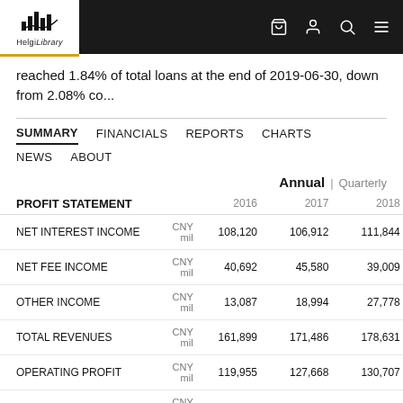Helgi Library navigation bar
reached 1.84% of total loans at the end of 2019-06-30, down from 2.08% co...
SUMMARY  FINANCIALS  REPORTS  CHARTS  NEWS  ABOUT
|  |  | 2016 | 2017 | 2018 |
| --- | --- | --- | --- | --- |
| PROFIT STATEMENT |  |  |  |  |
| NET INTEREST INCOME | CNY mil | 108,120 | 106,912 | 111,844 |
| NET FEE INCOME | CNY mil | 40,692 | 45,580 | 39,009 |
| OTHER INCOME | CNY mil | 13,087 | 18,994 | 27,778 |
| TOTAL REVENUES | CNY mil | 161,899 | 171,486 | 178,631 |
| OPERATING PROFIT | CNY mil | 119,955 | 127,668 | 130,707 |
| PROVISIONS | CNY mil | 46,845 | 52,799 | 58,383 |